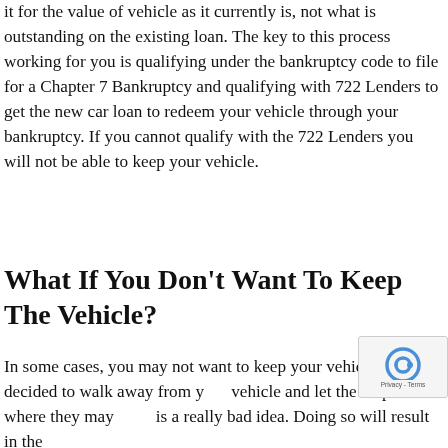it for the value of vehicle as it currently is, not what is outstanding on the existing loan. The key to this process working for you is qualifying under the bankruptcy code to file for a Chapter 7 Bankruptcy and qualifying with 722 Lenders to get the new car loan to redeem your vehicle through your bankruptcy. If you cannot qualify with the 722 Lenders you will not be able to keep your vehicle.
What If You Don't Want To Keep The Vehicle?
In some cases, you may not want to keep your vehicle and you decided to walk away from your vehicle and let the chips fall where they may. This is a really bad idea. Doing so will result in the